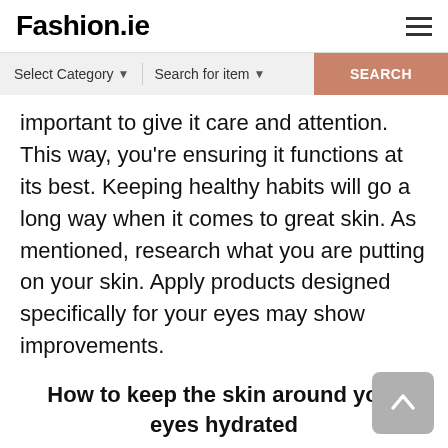Fashion.ie
important to give it care and attention. This way, you're ensuring it functions at its best. Keeping healthy habits will go a long way when it comes to great skin. As mentioned, research what you are putting on your skin. Apply products designed specifically for your eyes may show improvements.
How to keep the skin around your eyes hydrated